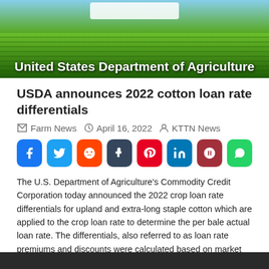[Figure (photo): Aerial photograph of agricultural fields with rows of crops. Overlaid white bold text reads 'United States Department of Agriculture'.]
USDA announces 2022 cotton loan rate differentials
Farm News  April 16, 2022  KTTN News
[Figure (infographic): Row of social media share buttons: Facebook (blue), Twitter (light blue), Reddit (orange), Tumblr (dark slate), Pinterest (red), LinkedIn (blue), Parler (dark red), WhatsApp (green).]
The U.S. Department of Agriculture's Commodity Credit Corporation today announced the 2022 crop loan rate differentials for upland and extra-long staple cotton which are applied to the crop loan rate to determine the per bale actual loan rate. The differentials, also referred to as loan rate premiums and discounts were calculated based on market valuations […]